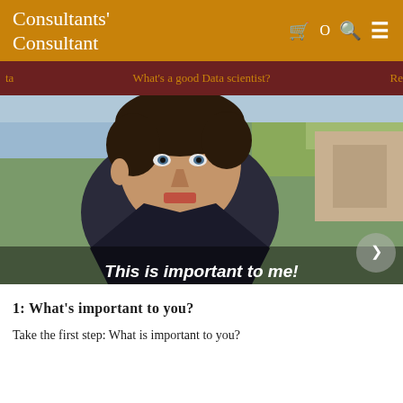Consultants' Consultant
[Figure (photo): Screenshot of a website navigation bar showing partial menu items: 'ta', 'What's a good Data scientist?', and 'Re' on a dark red background with gold text]
[Figure (photo): Photo of Benedict Cumberbatch (as Sherlock Holmes) looking intense outdoors, with subtitle text overlay reading 'This is important to me!']
1: What's important to you?
Take the first step: What is important to you?